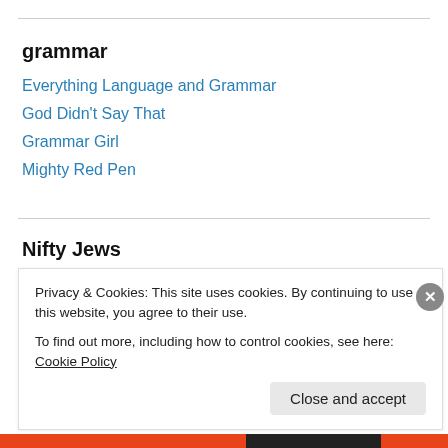grammar
Everything Language and Grammar
God Didn't Say That
Grammar Girl
Mighty Red Pen
Nifty Jews
CollegeSolved: Both Sides of the Gate
Davka ~ Despite Everything
Privacy & Cookies: This site uses cookies. By continuing to use this website, you agree to their use.
To find out more, including how to control cookies, see here: Cookie Policy
Close and accept